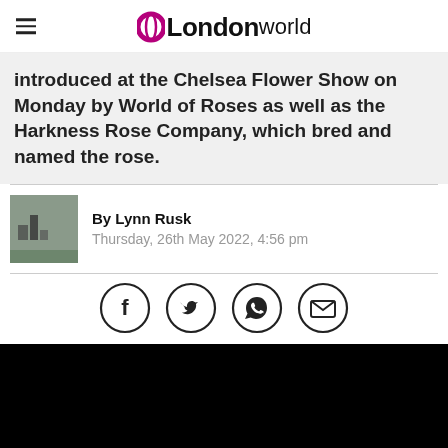OLondon World
introduced at the Chelsea Flower Show on Monday by World of Roses as well as the Harkness Rose Company, which bred and named the rose.
By Lynn Rusk
Thursday, 26th May 2022, 4:56 pm
[Figure (illustration): Social sharing icons: Facebook, Twitter, WhatsApp, Email]
[Figure (photo): Black image area (article photo)]